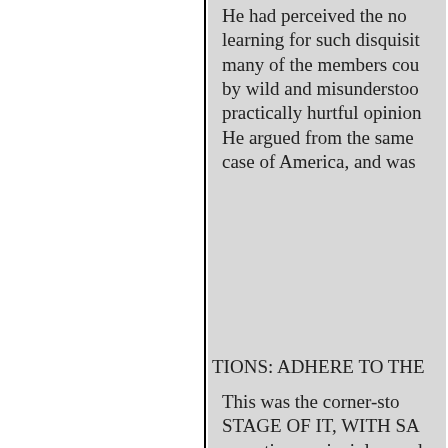He had perceived the no learning for such disquisit many of the members cou by wild and misunderstoo practically hurtful opinion He argued from the same case of America, and was
TIONS: ADHERE TO THE
This was the corner-sto STAGE OF IT, WITH SA operations, principles, and KNOWN TO EUROPE B of property. They made an Rights of Man. Their cond had no other system than a and reduce every rank and the warwhoop; their libert concluded this first public